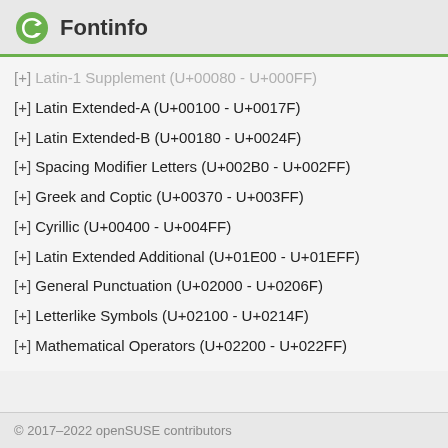Fontinfo
[+] Latin-1 Supplement (U+00080 - U+000FF)
[+] Latin Extended-A (U+00100 - U+0017F)
[+] Latin Extended-B (U+00180 - U+0024F)
[+] Spacing Modifier Letters (U+002B0 - U+002FF)
[+] Greek and Coptic (U+00370 - U+003FF)
[+] Cyrillic (U+00400 - U+004FF)
[+] Latin Extended Additional (U+01E00 - U+01EFF)
[+] General Punctuation (U+02000 - U+0206F)
[+] Letterlike Symbols (U+02100 - U+0214F)
[+] Mathematical Operators (U+02200 - U+022FF)
© 2017–2022 openSUSE contributors